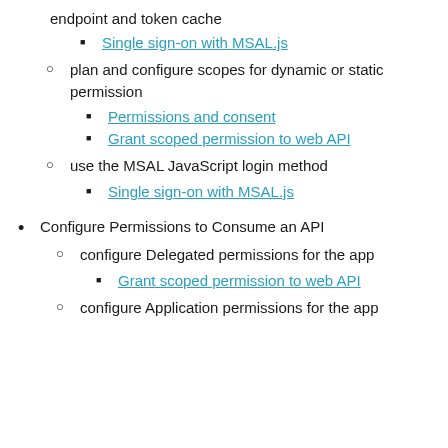endpoint and token cache
Single sign-on with MSAL.js
plan and configure scopes for dynamic or static permission
Permissions and consent
Grant scoped permission to web API
use the MSAL JavaScript login method
Single sign-on with MSAL.js
Configure Permissions to Consume an API
configure Delegated permissions for the app
Grant scoped permission to web API
configure Application permissions for the app